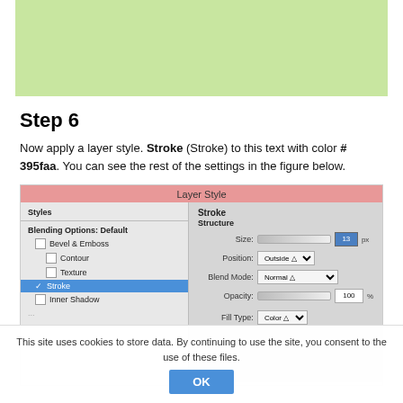[Figure (screenshot): Light green rectangle representing a preview image area at top of page]
Step 6
Now apply a layer style. Stroke (Stroke) to this text with color # 395faa. You can see the rest of the settings in the figure below.
[Figure (screenshot): Photoshop Layer Style dialog showing Stroke settings: Size slider with value 13 px, Position: Outside, Blend Mode: Normal, Opacity: 100%, Fill Type: Color]
This site uses cookies to store data. By continuing to use the site, you consent to the use of these files.